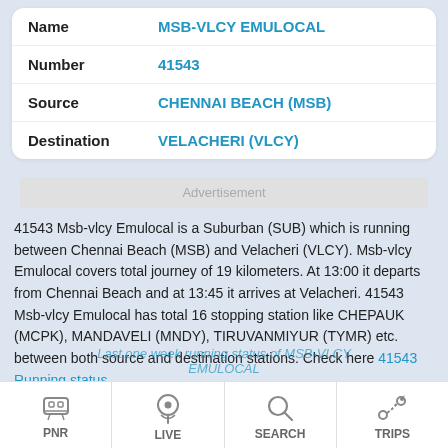| Field | Value |
| --- | --- |
| Name | MSB-VLCY EMULOCAL |
| Number | 41543 |
| Source | CHENNAI BEACH (MSB) |
| Destination | VELACHERI (VLCY) |
Advertisement
41543 Msb-vlcy Emulocal is a Suburban (SUB) which is running between Chennai Beach (MSB) and Velacheri (VLCY). Msb-vlcy Emulocal covers total journey of 19 kilometers. At 13:00 it departs from Chennai Beach and at 13:45 it arrives at Velacheri. 41543 Msb-vlcy Emulocal has total 16 stopping station like CHEPAUK (MCPK), MANDAVELI (MNDY), TIRUVANMIYUR (TYMR) etc. between both source and destination stations. Check here 41543 Running status
PNR | LIVE | SEARCH | TRIPS